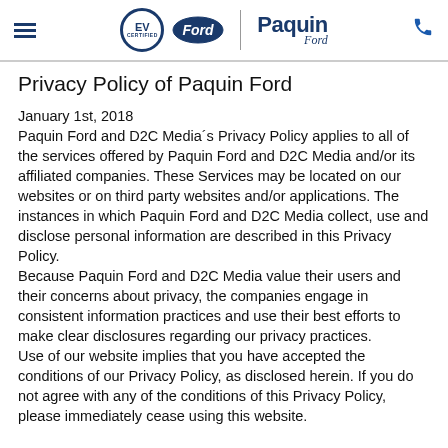[Figure (logo): Navigation header with hamburger menu, EV certified badge, Ford oval logo, vertical divider, Paquin Ford text logo, and phone icon]
Privacy Policy of Paquin Ford
January 1st, 2018
Paquin Ford and D2C Media´s Privacy Policy applies to all of the services offered by Paquin Ford and D2C Media and/or its affiliated companies. These Services may be located on our websites or on third party websites and/or applications. The instances in which Paquin Ford and D2C Media collect, use and disclose personal information are described in this Privacy Policy.
Because Paquin Ford and D2C Media value their users and their concerns about privacy, the companies engage in consistent information practices and use their best efforts to make clear disclosures regarding our privacy practices.
Use of our website implies that you have accepted the conditions of our Privacy Policy, as disclosed herein. If you do not agree with any of the conditions of this Privacy Policy, please immediately cease using this website.